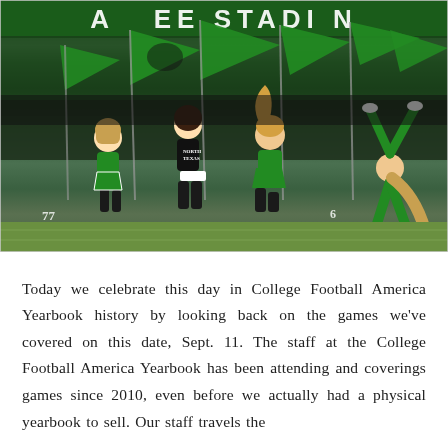[Figure (photo): North Texas Mean Green cheerleaders and flag corps running onto Apogee Stadium field during a college football game, with green flags, cheerleaders doing cartwheels, wearing green and white uniforms. Stadium sign visible at top reading 'APOGEE STADIUM'.]
Today we celebrate this day in College Football America Yearbook history by looking back on the games we've covered on this date, Sept. 11. The staff at the College Football America Yearbook has been attending and coverings games since 2010, even before we actually had a physical yearbook to sell. Our staff travels the